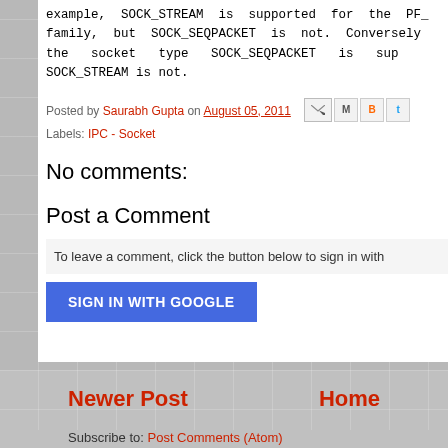example, SOCK_STREAM is supported for the PF_ family, but SOCK_SEQPACKET is not. Conversely, the socket type SOCK_SEQPACKET is sup SOCK_STREAM is not.
Posted by Saurabh Gupta on August 05, 2011
Labels: IPC - Socket
No comments:
Post a Comment
To leave a comment, click the button below to sign in with
SIGN IN WITH GOOGLE
Newer Post
Home
Subscribe to: Post Comments (Atom)